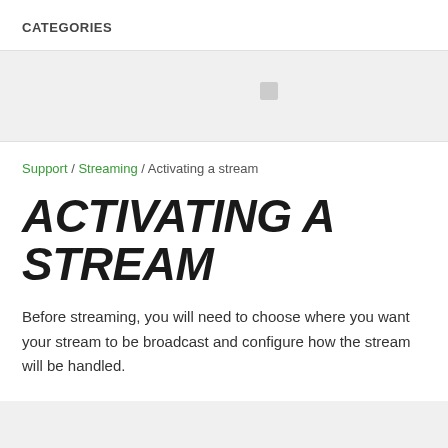CATEGORIES
Support / Streaming / Activating a stream
ACTIVATING A STREAM
Before streaming, you will need to choose where you want your stream to be broadcast and configure how the stream will be handled.